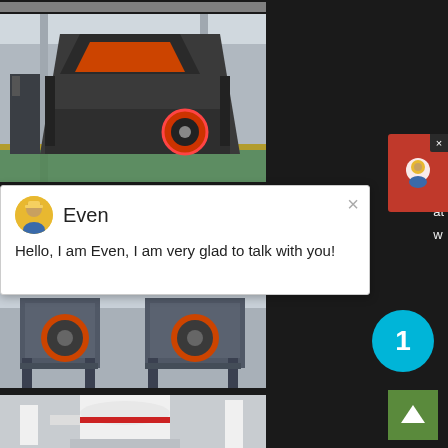[Figure (photo): Partial view of an industrial machine at top of page (cropped)]
[Figure (photo): Large dark grey impact crusher machine in a factory/warehouse setting, with orange-red accents and circular flywheel highlighted with red circle]
[Figure (screenshot): Live chat popup with avatar of support agent 'Even', message: Hello, I am Even, I am very glad to talk with you!]
[Figure (photo): Grey roller/jaw crusher machines on steel frames in industrial facility]
[Figure (photo): White vertical mill/grinder machine with pipes and steel structure in industrial facility]